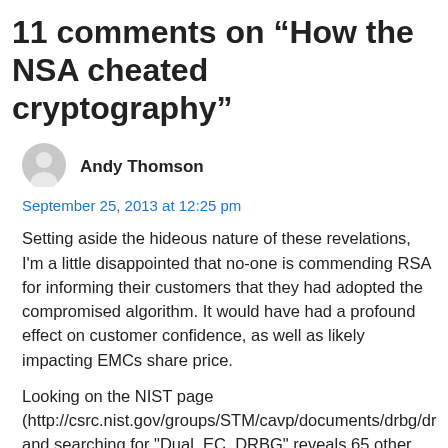11 comments on “How the NSA cheated cryptography”
[Figure (illustration): Generic gray user avatar icon (circle with person silhouette)]
Andy Thomson
September 25, 2013 at 12:25 pm
Setting aside the hideous nature of these revelations, I'm a little disappointed that no-one is commending RSA for informing their customers that they had adopted the compromised algorithm. It would have had a profound effect on customer confidence, as well as likely impacting EMCs share price.
Looking on the NIST page (http://csrc.nist.gov/groups/STM/cavp/documents/drbg/dr and searching for "Dual_EC_DRBG" reveals 65 other adopters of the same standard, the silence from them and what it means for their customers